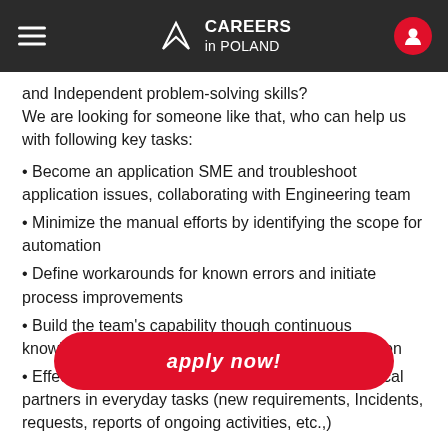CAREERS in POLAND
and Independent problem-solving skills?
We are looking for someone like that, who can help us with following key tasks:
Become an application SME and troubleshoot application issues, collaborating with Engineering team
Minimize the manual efforts by identifying the scope for automation
Define workarounds for known errors and initiate process improvements
Build the team's capability though continuous knowledge sharing and write technical documentation
Effectively communicate with business and technical partners in everyday tasks (new requirements, Incidents, requests, reports of ongoing activities, etc.,)
Your team
You will be part of a team of experts supporting DevOps Toolchain. You will meet committed,